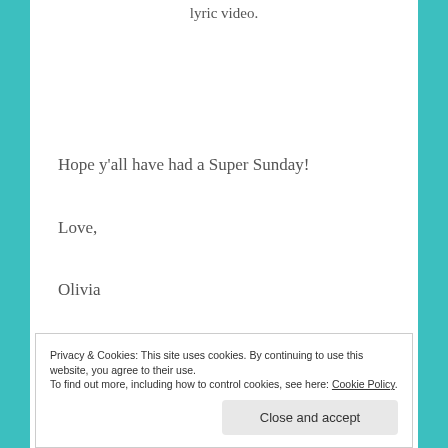lyric video.
Hope y'all have had a Super Sunday!
Love,
Olivia
Advertisements
Privacy & Cookies: This site uses cookies. By continuing to use this website, you agree to their use.
To find out more, including how to control cookies, see here: Cookie Policy
Close and accept